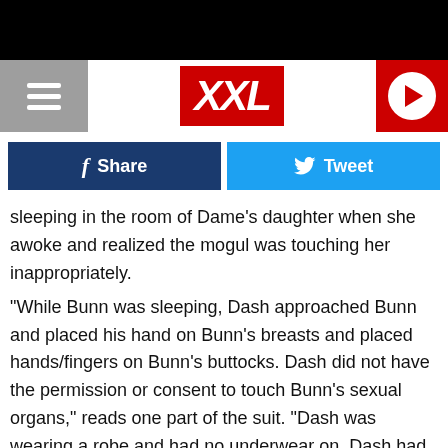[Figure (logo): XXL magazine logo in red box, hamburger menu on left gray box, red play button circle on right]
[Figure (infographic): Facebook Share button (dark blue) and Twitter Tweet button (light blue)]
sleeping in the room of Dame's daughter when she awoke and realized the mogul was touching her inappropriately.
“While Bunn was sleeping, Dash approached Bunn and placed his hand on Bunn’s breasts and placed hands/fingers on Bunn’s buttocks. Dash did not have the permission or consent to touch Bunn’s sexual organs,” reads one part of the suit. “Dash was wearing a robe and had no underwear on. Dash had been drinking alcohol and smoking marijuana all day.”
[Figure (infographic): Ad banner: Back To School Shopping Deals - Leesburg Premium Outlets]